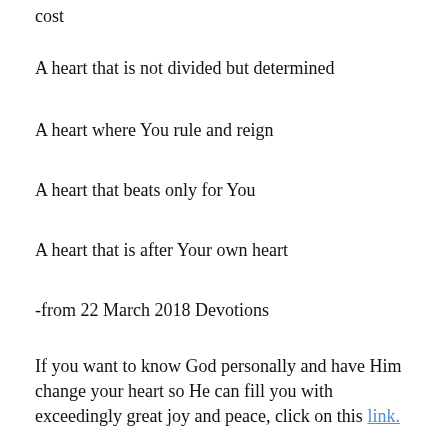cost
A heart that is not divided but determined
A heart where You rule and reign
A heart that beats only for You
A heart that is after Your own heart
-from 22 March 2018 Devotions
If you want to know God personally and have Him change your heart so He can fill you with exceedingly great joy and peace, click on this link.